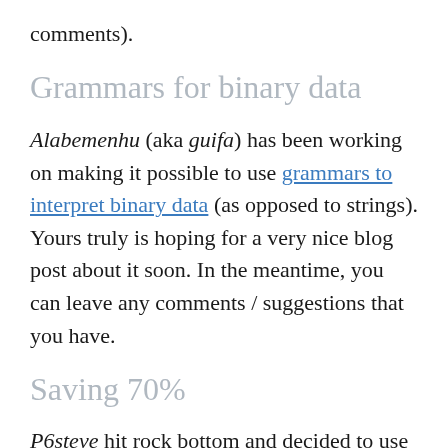comments).
Grammars for binary data
Alabemenhu (aka guifa) has been working on making it possible to use grammars to interpret binary data (as opposed to strings). Yours truly is hoping for a very nice blog post about it soon. In the meantime, you can leave any comments / suggestions that you have.
Saving 70%
P6steve hit rock bottom and decided to use their